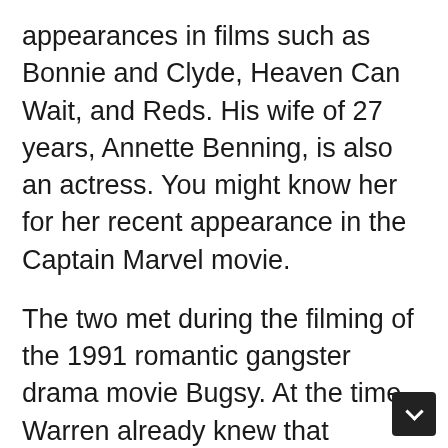appearances in films such as Bonnie and Clyde, Heaven Can Wait, and Reds. His wife of 27 years, Annette Benning, is also an actress. You might know her for her recent appearance in the Captain Marvel movie.
The two met during the filming of the 1991 romantic gangster drama movie Bugsy. At the time, Warren already knew that Annette would be changing his life, and it was true. Aside from being his on-screen love interest, something more happened. At the end of the movie's filming, Warren couldn't help himself but invite Annette for dinner, and from here, the rest is history. The lucky